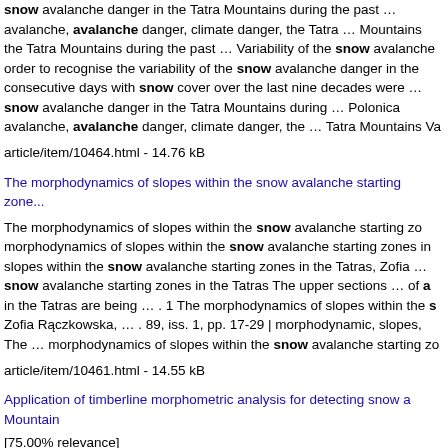snow avalanche danger in the Tatra Mountains during the past … avalanche, avalanche danger, climate danger, the Tatra … Mountains the Tatra Mountains during the past … Variability of the snow avalanche order to recognise the variability of the snow avalanche danger in the consecutive days with snow cover over the last nine decades were … snow avalanche danger in the Tatra Mountains during … Polonica avalanche, avalanche danger, climate danger, the … Tatra Mountains Va
article/item/10464.html - 14.76 kB
The morphodynamics of slopes within the snow avalanche starting zone...
The morphodynamics of slopes within the snow avalanche starting zone morphodynamics of slopes within the snow avalanche starting zones in slopes within the snow avalanche starting zones in the Tatras, Zofia … snow avalanche starting zones in the Tatras The upper sections … of a in the Tatras are being … . 1 The morphodynamics of slopes within the s Zofia Rączkowska, … . 89, iss. 1, pp. 17-29 | morphodynamic, slopes, The … morphodynamics of slopes within the snow avalanche starting zo
article/item/10461.html - 14.55 kB
Application of timberline morphometric analysis for detecting snow a Mountain [75.00% relevance]
timberline morphometric analysis for detecting snow avalanche paths...